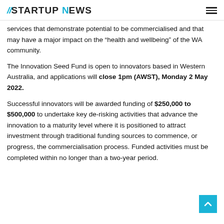//STARTUP NEWS
services that demonstrate potential to be commercialised and that may have a major impact on the “health and wellbeing” of the WA community.
The Innovation Seed Fund is open to innovators based in Western Australia, and applications will close 1pm (AWST), Monday 2 May 2022.
Successful innovators will be awarded funding of $250,000 to $500,000 to undertake key de-risking activities that advance the innovation to a maturity level where it is positioned to attract investment through traditional funding sources to commence, or progress, the commercialisation process. Funded activities must be completed within no longer than a two-year period.